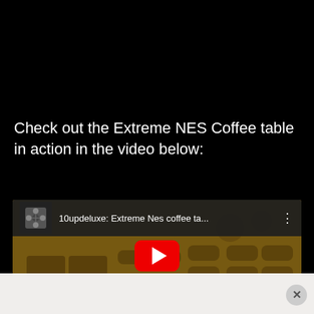Check out the Extreme NES Coffee table in action in the video below:
[Figure (screenshot): Embedded YouTube video thumbnail showing 10updeluxe: Extreme Nes coffee ta... with a play button overlay. The thumbnail shows a close-up of wooden NES controller buttons carved into a coffee table surface. A YouTube play button (red circle with white triangle) is centered on the thumbnail.]